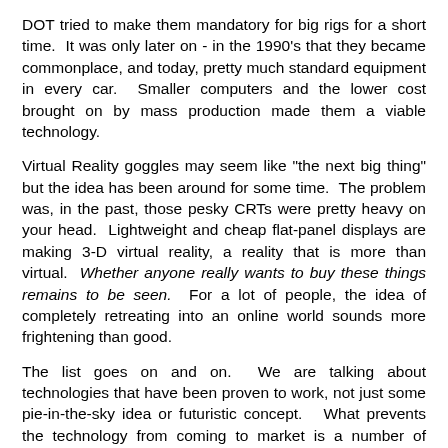DOT tried to make them mandatory for big rigs for a short time.  It was only later on - in the 1990's that they became commonplace, and today, pretty much standard equipment in every car.  Smaller computers and the lower cost brought on by mass production made them a viable technology.
Virtual Reality goggles may seem like "the next big thing" but the idea has been around for some time.  The problem was, in the past, those pesky CRTs were pretty heavy on your head.  Lightweight and cheap flat-panel displays are making 3-D virtual reality, a reality that is more than virtual.  Whether anyone really wants to buy these things remains to be seen.  For a lot of people, the idea of completely retreating into an online world sounds more frightening than good.
The list goes on and on.  We are talking about technologies that have been proven to work, not just some pie-in-the-sky idea or futuristic concept.  What prevents the technology from coming to market is a number of things:
1.  Materials Science - "Mat Sci" tends to drive a lot of technology.  Until materials can be invented